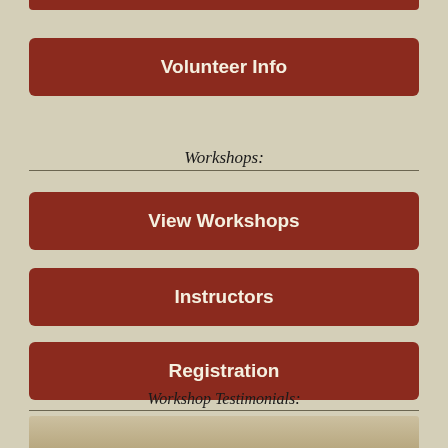[Figure (other): Partial dark red button strip at top of page (cropped button)]
Volunteer Info
Workshops:
View Workshops
Instructors
Registration
Workshop Testimonials:
[Figure (photo): Partial photo strip at bottom of page, cropped]